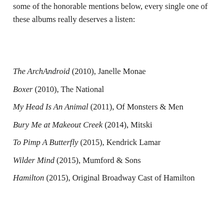some of the honorable mentions below, every single one of these albums really deserves a listen:
The ArchAndroid (2010), Janelle Monae
Boxer (2010), The National
My Head Is An Animal (2011), Of Monsters & Men
Bury Me at Makeout Creek (2014), Mitski
To Pimp A Butterfly (2015), Kendrick Lamar
Wilder Mind (2015), Mumford & Sons
Hamilton (2015), Original Broadway Cast of Hamilton